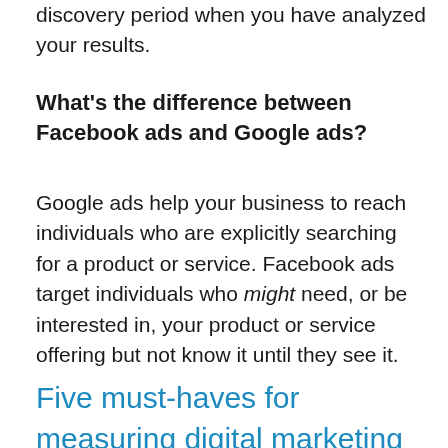discovery period when you have analyzed your results.
What's the difference between Facebook ads and Google ads?
Google ads help your business to reach individuals who are explicitly searching for a product or service. Facebook ads target individuals who might need, or be interested in, your product or service offering but not know it until they see it.
Five must-haves for measuring digital marketing